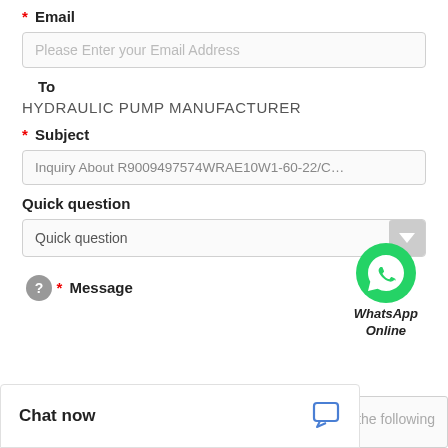* Email
Please Enter your Email Address
To
HYDRAULIC PUMP MANUFACTURER
* Subject
Inquiry About R9009497574WRAE10W1-60-22/C...31/
Quick question
Quick question
[Figure (logo): WhatsApp green phone icon with WhatsApp Online label]
WhatsApp Online
?
* Message
Chat now
including the following